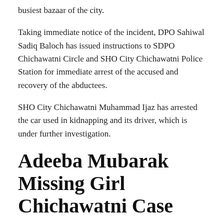busiest bazaar of the city.
Taking immediate notice of the incident, DPO Sahiwal Sadiq Baloch has issued instructions to SDPO Chichawatni Circle and SHO City Chichawatni Police Station for immediate arrest of the accused and recovery of the abductees.
SHO City Chichawatni Muhammad Ijaz has arrested the car used in kidnapping and its driver, which is under further investigation.
Adeeba Mubarak Missing Girl Chichawatni Case
It is to be noted that robberies and kidnappings have been on the rise in Chichawatni city for some time now and civic organizations are protesting. Adiba Mubarak, a 6-year-old girl from Chak 110 Seven R, has been missing since November 22, but police have not been able to recover her even after 17 days.